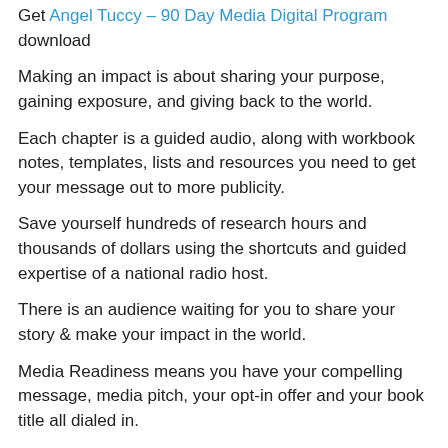Get Angel Tuccy – 90 Day Media Digital Program download
Making an impact is about sharing your purpose, gaining exposure, and giving back to the world.
Each chapter is a guided audio, along with workbook notes, templates, lists and resources you need to get your message out to more publicity.
Save yourself hundreds of research hours and thousands of dollars using the shortcuts and guided expertise of a national radio host.
There is an audience waiting for you to share your story & make your impact in the world.
Media Readiness means you have your compelling message, media pitch, your opt-in offer and your book title all dialed in.
When choosing between two expert guests, 80% of media hosts are likely to choose the published author.